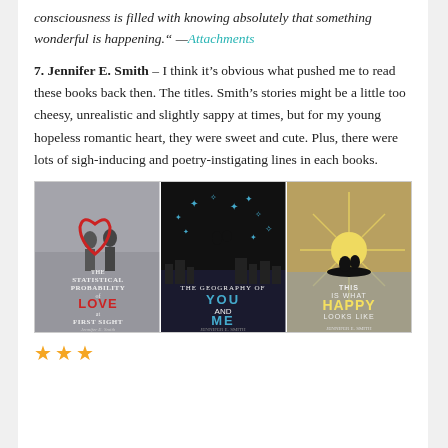consciousness is filled with knowing absolutely that something wonderful is happening." —Attachments
7. Jennifer E. Smith – I think it's obvious what pushed me to read these books back then. The titles. Smith's stories might be a little too cheesy, unrealistic and slightly sappy at times, but for my young hopeless romantic heart, they were sweet and cute. Plus, there were lots of sigh-inducing and poetry-instigating lines in each books.
[Figure (photo): Three book covers by Jennifer E. Smith: 'The Statistical Probability of Love at First Sight', 'The Geography of You and Me', and 'This Is What Happy Looks Like']
★★★